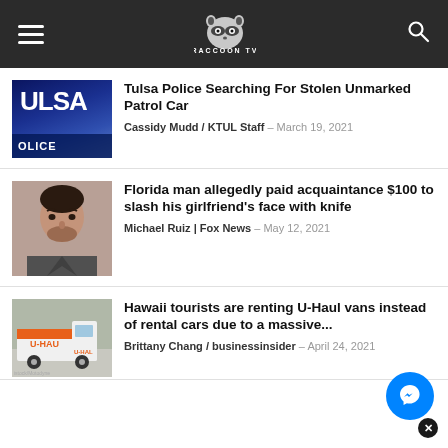Raccoon TV - navigation header with hamburger menu, logo, and search icon
Tulsa Police Searching For Stolen Unmarked Patrol Car
Florida man allegedly paid acquaintance $100 to slash his girlfriend's face with knife
Hawaii tourists are renting U-Haul vans instead of rental cars due to a massive...